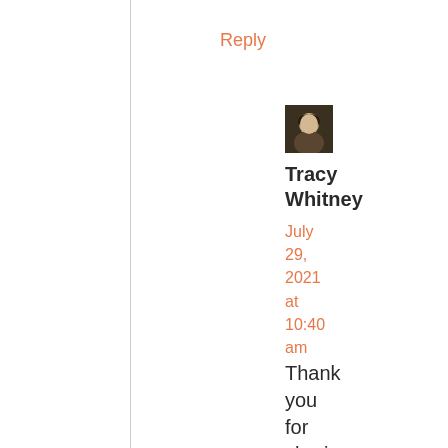Reply
[Figure (photo): Small avatar photo of a person with dark hair]
Tracy Whitney
July 29, 2021 at 10:40 am
Thank you for sharing